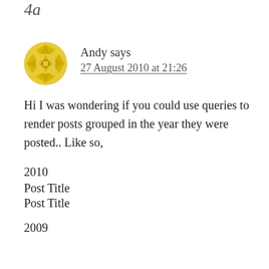4a
Andy says
27 August 2010 at 21:26
Hi I was wondering if you could use queries to render posts grouped in the year they were posted.. Like so,
2010
Post Title
Post Title
2009